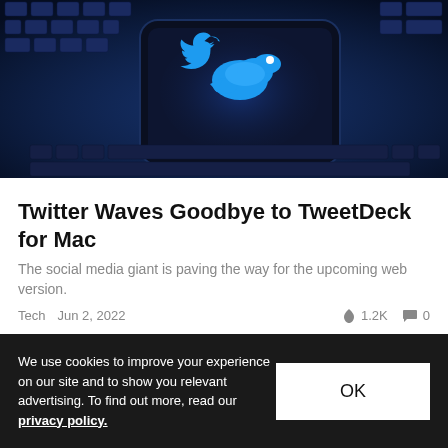[Figure (photo): Dark blue photo of a smartphone on a keyboard with the Twitter bird logo displayed on screen]
Twitter Waves Goodbye to TweetDeck for Mac
The social media giant is paving the way for the upcoming web version.
Tech   Jun 2, 2022   🔥 1.2K   💬 0
[Figure (photo): Photo of a person with dark hair against a blue background, partially visible]
We use cookies to improve your experience on our site and to show you relevant advertising. To find out more, read our privacy policy.